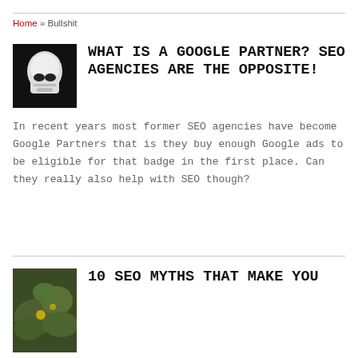Home » Bullshit
WHAT IS A GOOGLE PARTNER? SEO AGENCIES ARE THE OPPOSITE!
[Figure (photo): Dark photo of a Stormtrooper helmet figurine against black background]
In recent years most former SEO agencies have become Google Partners that is they buy enough Google ads to be eligible for that badge in the first place. Can they really also help with SEO though?
10 SEO MYTHS THAT MAKE YOU
[Figure (photo): Green foliage/nature photo]